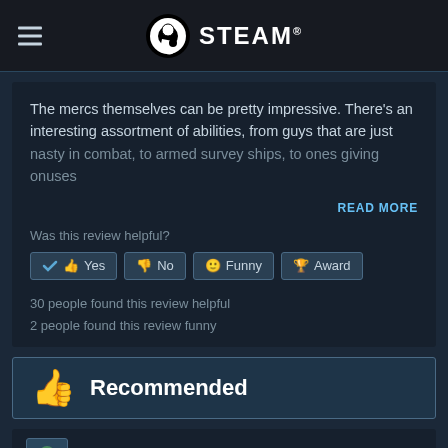STEAM
The mercs themselves can be pretty impressive. There's an interesting assortment of abilities, from guys that are just nasty in combat, to armed survey ships, to ones giving onuses
READ MORE
Was this review helpful?
Yes | No | Funny | Award
30 people found this review helpful
2 people found this review funny
Recommended
Red Earth | 162 products in account | 13 reviews
POSTED: JUNE 9, 2017   DIRECT FROM STEAM